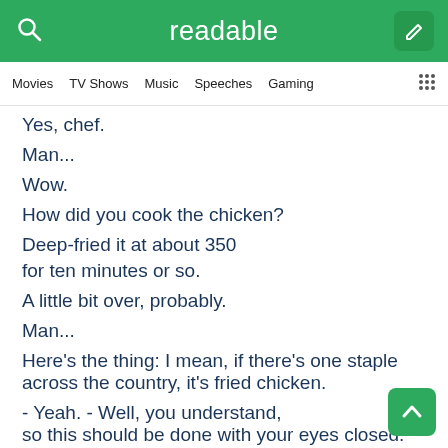readable
Movies   TV Shows   Music   Speeches   Gaming
Yes, chef.
Man...
Wow.
How did you cook the chicken?
Deep-fried it at about 350
for ten minutes or so.
A little bit over, probably.
Man...
Here's the thing: I mean, if there's one staple across the country, it's fried chicken.
- Yeah. - Well, you understand, so this should be done with your eyes closed.
I broke the plate. My apologies.